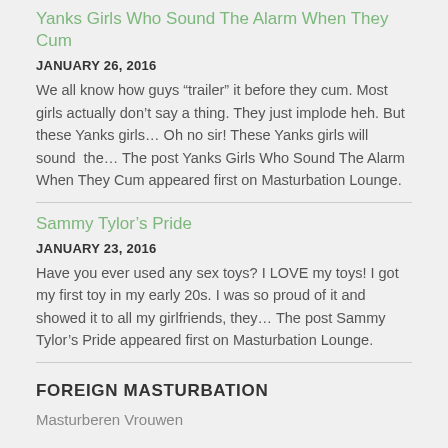Yanks Girls Who Sound The Alarm When They Cum
JANUARY 26, 2016
We all know how guys “trailer” it before they cum. Most girls actually don’t say a thing. They just implode heh. But these Yanks girls… Oh no sir! These Yanks girls will sound  the… The post Yanks Girls Who Sound The Alarm When They Cum appeared first on Masturbation Lounge.
Sammy Tylor’s Pride
JANUARY 23, 2016
Have you ever used any sex toys? I LOVE my toys! I got my first toy in my early 20s. I was so proud of it and showed it to all my girlfriends, they… The post Sammy Tylor’s Pride appeared first on Masturbation Lounge.
FOREIGN MASTURBATION
Masturberen Vrouwen